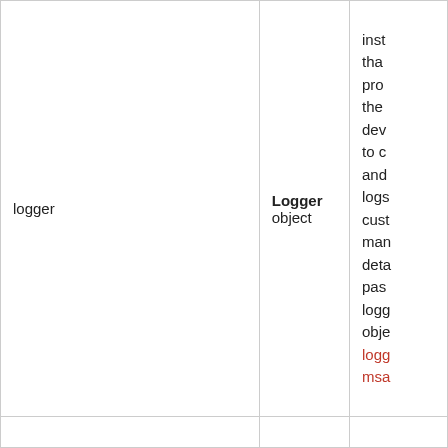|  | Logger object |  |
| --- | --- | --- |
| logger | Logger
object | inst
tha
pro
the
dew
to c
and
logs
cust
man
deta
pas
logg
obj
logg
msa |